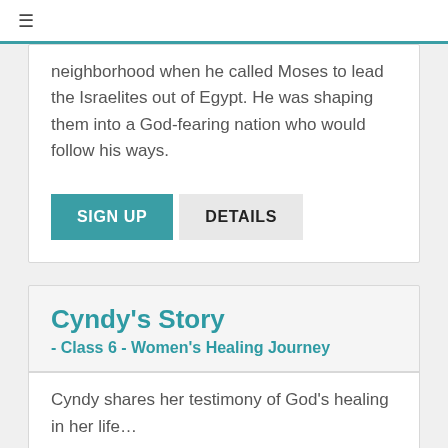≡
neighborhood when he called Moses to lead the Israelites out of Egypt. He was shaping them into a God-fearing nation who would follow his ways.
SIGN UP   DETAILS
Cyndy's Story
- Class 6 - Women's Healing Journey
Cyndy shares her testimony of God's healing in her life...